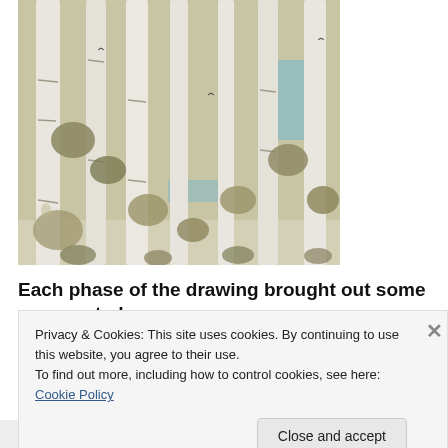[Figure (illustration): A detailed illustration of a birch or aspen forest scene with tall white-barked trees, olive-green foliage, blue accents suggesting water or sky, and light snow on the ground. Birds and plants are visible among the trees.]
Each phase of the drawing brought out some unexpected
Privacy & Cookies: This site uses cookies. By continuing to use this website, you agree to their use.
To find out more, including how to control cookies, see here: Cookie Policy